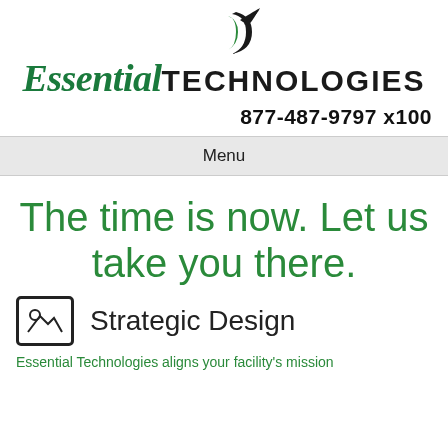[Figure (logo): Essential Technologies logo with crescent/feather icon above text. 'Essential' in dark green italic serif, 'TECHNOLOGIES' in black bold sans-serif.]
877-487-9797 x100
Menu
The time is now. Let us take you there.
[Figure (illustration): Small image icon (rounded rectangle with mountain/landscape pictogram) representing Strategic Design]
Strategic Design
Essential Technologies aligns your facility's mission